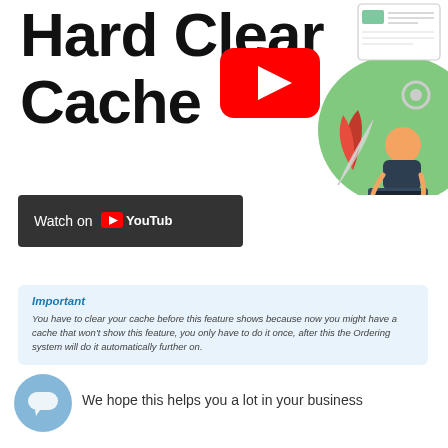Hard Clear Cache
[Figure (illustration): Illustration of a person sitting with a laptop, with decorative plant and gear icons; green background circle; browser/document mockup in upper right]
[Figure (other): YouTube play button (red rectangle with white triangle) overlay on illustration]
Features  How they work
[Figure (screenshot): Dark 'Watch on YouTube' button with YouTube logo]
Important
You have to clear your cache before this feature shows because now you might have a cache that won't show this feature, you only have to do it once, after this the Ordering system will do it automatically further on.
[Figure (other): Blue circle chat/support icon with speech bubble]
We hope this helps you a lot in your business